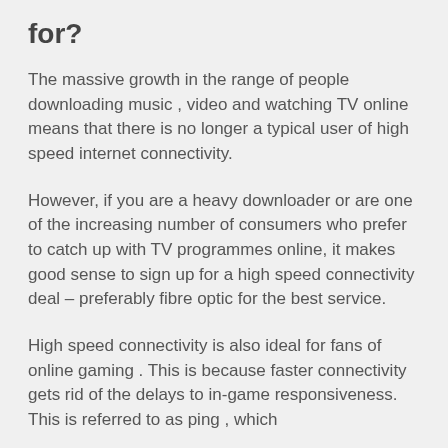for?
The massive growth in the range of people downloading music , video and watching TV online means that there is no longer a typical user of high speed internet connectivity.
However, if you are a heavy downloader or are one of the increasing number of consumers who prefer to catch up with TV programmes online, it makes good sense to sign up for a high speed connectivity deal – preferably fibre optic for the best service.
High speed connectivity is also ideal for fans of online gaming . This is because faster connectivity gets rid of the delays to in-game responsiveness. This is referred to as ping , which